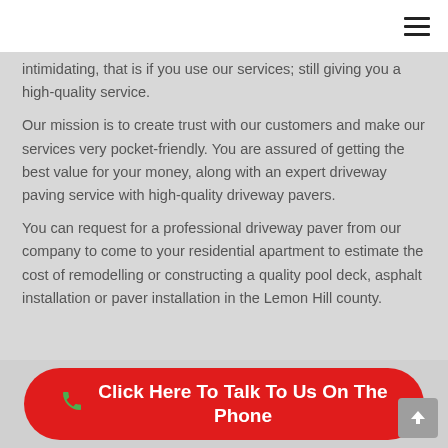intimidating, that is if you use our services; still giving you a high-quality service.
Our mission is to create trust with our customers and make our services very pocket-friendly. You are assured of getting the best value for your money, along with an expert driveway paving service with high-quality driveway pavers.
You can request for a professional driveway paver from our company to come to your residential apartment to estimate the cost of remodelling or constructing a quality pool deck, asphalt installation or paver installation in the Lemon Hill county.
Click Here To Talk To Us On The Phone